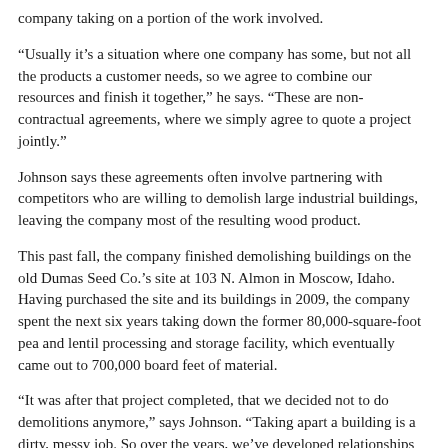company taking on a portion of the work involved.
“Usually it’s a situation where one company has some, but not all the products a customer needs, so we agree to combine our resources and finish it together,” he says. “These are non-contractual agreements, where we simply agree to quote a project jointly.”
Johnson says these agreements often involve partnering with competitors who are willing to demolish large industrial buildings, leaving the company most of the resulting wood product.
This past fall, the company finished demolishing buildings on the old Dumas Seed Co.’s site at 103 N. Almon in Moscow, Idaho. Having purchased the site and its buildings in 2009, the company spent the next six years taking down the former 80,000-square-foot pea and lentil processing and storage facility, which eventually came out to 700,000 board feet of material.
“It was after that project completed, that we decided not to do demolitions anymore,” says Johnson. “Taking apart a building is a dirty, messy job. So over the years, we’ve developed relationships with demolition companies who can do that portion for us.”